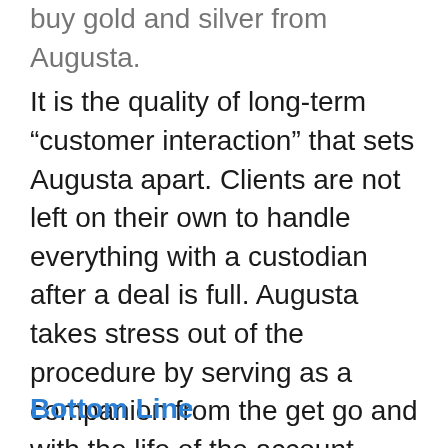buy gold and silver from Augusta.
It is the quality of long-term “customer interaction” that sets Augusta apart. Clients are not left on their own to handle everything with a custodian after a deal is full. Augusta takes stress out of the procedure by serving as a companion from the get go and with the life of the account– really different from several silver and gold suppliers that act just as sellers of the steels. Augusta cares for the majority of the documentation for customers at the time of purchase and also as a continuous service, consisting of circulations, payments, transfers and RMDs.
Bottom Line